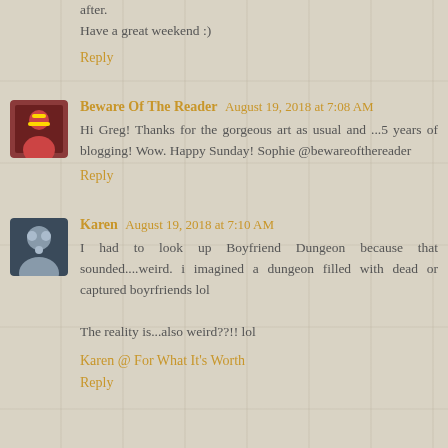after.
Have a great weekend :)
Reply
Beware Of The Reader  August 19, 2018 at 7:08 AM
Hi Greg! Thanks for the gorgeous art as usual and ...5 years of blogging! Wow. Happy Sunday! Sophie @bewareofthereader
Reply
Karen  August 19, 2018 at 7:10 AM
I had to look up Boyfriend Dungeon because that sounded....weird. i imagined a dungeon filled with dead or captured boyrfriends lol

The reality is...also weird??!! lol
Karen @ For What It's Worth
Reply